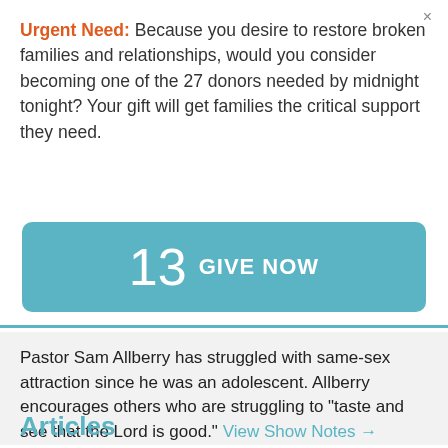×
Urgent Need: Because you desire to restore broken families and relationships, would you consider becoming one of the 27 donors needed by midnight tonight? Your gift will get families the critical support they need.
[Figure (other): Teal rounded button with large number 13 and text GIVE NOW in white]
Pastor Sam Allberry has struggled with same-sex attraction since he was an adolescent. Allberry encourages others who are struggling to "taste and see that the Lord is good." View Show Notes →
Articles